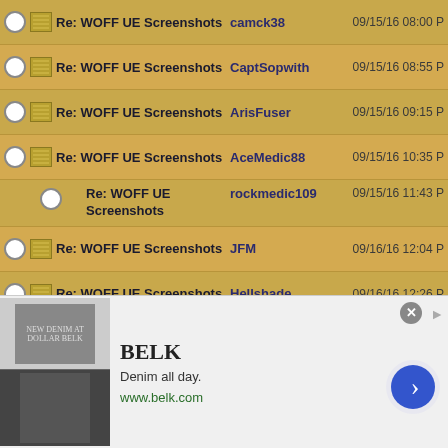| Select | Subject | Author | Date |
| --- | --- | --- | --- |
| ○ | Re: WOFF UE Screenshots | camck38 | 09/15/16 08:00 P |
| ○ | Re: WOFF UE Screenshots | CaptSopwith | 09/15/16 08:55 P |
| ○ | Re: WOFF UE Screenshots | ArisFuser | 09/15/16 09:15 P |
| ○ | Re: WOFF UE Screenshots | AceMedic88 | 09/15/16 10:35 P |
| ○ | Re: WOFF UE Screenshots | rockmedic109 | 09/15/16 11:43 P |
| ○ | Re: WOFF UE Screenshots | JFM | 09/16/16 12:04 P |
| ○ | Re: WOFF UE Screenshots | Hellshade | 09/16/16 12:26 P |
| ○ | Re: WOFF UE Screenshots | Shredward | 09/17/16 03:23 P |
| ○ | Re: WOFF UE Screenshots | Hellshade | 09/17/16 04:22 P |
| ○ | Re: WOFF UE Screenshots | Hauksbee | 09/26/16 03:49 A |
| ○ | Re: WOFF UE Screenshots | OvStachel | 09/18/16 05:43 P |
[Figure (screenshot): BELK advertisement banner: Denim all day. www.belk.com with arrow button and close button]